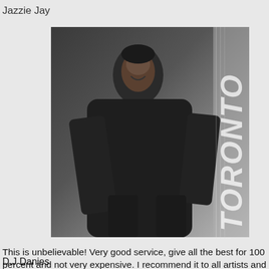Jazzie Jay
[Figure (photo): Photo of a man in a dark suit jacket with text 'TORONTO' vertically on the right side]
This is unbelievable! Very good service, give all the best for 100 percent and not very expensive. I recommend it to all artists and their managers, it's very effective for your tracks - you get real streams, likes, reposts and support from them.
Love to work with
D.J Danies